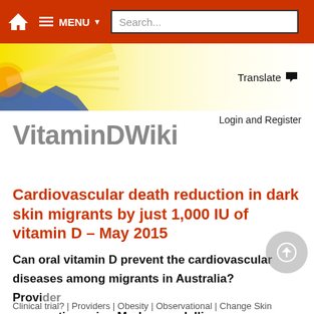Home | MENU ▾ | Search...
[Figure (illustration): Website banner with sun rays graphic on the left in yellow/blue/orange, fading to white on the right. A 'Translate' button with a flag icon appears on the right side.]
Translate 🏴
Login and Register
VitaminDWiki
Cardiovascular death reduction in dark skin migrants by just 1,000 IU of vitamin D – May 2015
Can oral vitamin D prevent the cardiovascular diseases among migrants in Australia? Provider perspective using Markov modelling
Clinical trial? | ... | ...